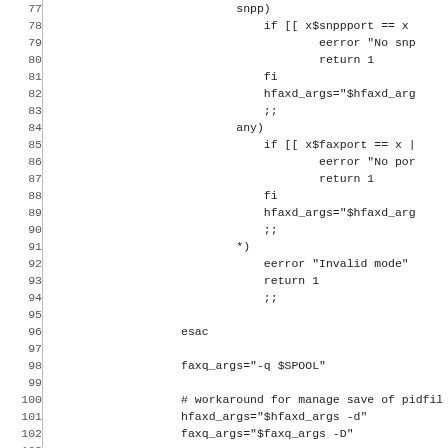[Figure (other): Source code snippet (shell script) with line numbers 77–106, showing a case statement with snpp, any, and *) branches, esac, faxq_args and hfaxd_args assignments, a workaround comment, and return 0 with closing brace.]